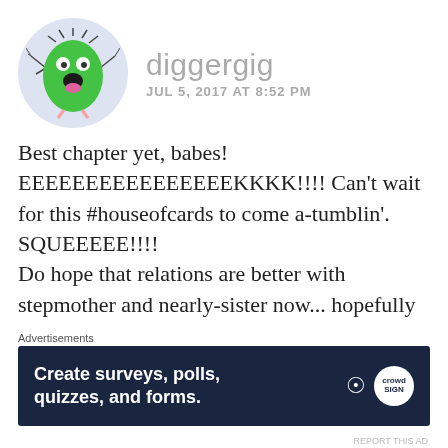[Figure (illustration): Circular avatar with light blue/purple background showing a cartoon green monster character with spiky hair, big eyes, open mouth, pink tongue, and small legs]
diggergig
JUL 5, 2017 AT 8:52 PM
Best chapter yet, babes! EEEEEEEEEEEEEEEEKKKK!!!! Can't wait for this #houseofcards to come a-tumblin'. SQUEEEEE!!!!
Do hope that relations are better with stepmother and nearly-sister now... hopefully they are reading your blog.
I would love to see the hunbots in action,
Advertisements
[Figure (screenshot): Advertisement banner with dark navy background. Text: Create surveys, polls, quizzes, and forms. WordPress and Crowdsignal logos on the right.]